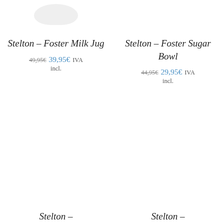[Figure (photo): Partial view of a white ceramic milk jug (cropped at top of page)]
Stelton – Foster Milk Jug
49,95€  39,95€ IVA incl.
[Figure (photo): Partial area for second product (Sugar Bowl) - empty/white]
Stelton – Foster Sugar Bowl
44,95€  29,95€ IVA incl.
Stelton –
Stelton –